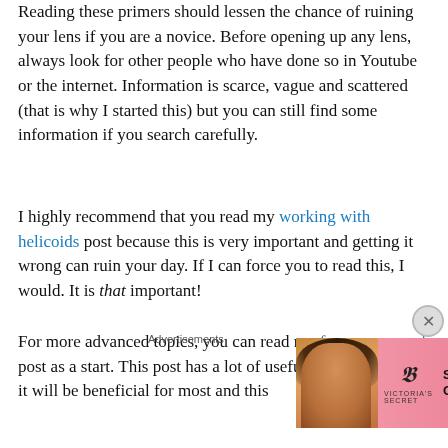Reading these primers should lessen the chance of ruining your lens if you are a novice. Before opening up any lens, always look for other people who have done so in Youtube or the internet. Information is scarce, vague and scattered (that is why I started this) but you can still find some information if you search carefully.
I highly recommend that you read my working with helicoids post because this is very important and getting it wrong can ruin your day. If I can force you to read this, I would. It is that important!
For more advanced topics, you can read my fungus removal post as a start. This post has a lot of useful information and it will be beneficial for most and this
Advertisements
[Figure (photo): Victoria's Secret advertisement banner with model and 'SHOP THE COLLECTION' text and 'SHOP NOW' button]